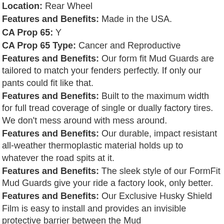Location: Rear Wheel
Features and Benefits: Made in the USA.
CA Prop 65: Y
CA Prop 65 Type: Cancer and Reproductive
Features and Benefits: Our form fit Mud Guards are tailored to match your fenders perfectly. If only our pants could fit like that.
Features and Benefits: Built to the maximum width for full tread coverage of single or dually factory tires. We don't mess around with mess around.
Features and Benefits: Our durable, impact resistant all-weather thermoplastic material holds up to whatever the road spits at it.
Features and Benefits: The sleek style of our FormFit Mud Guards give your ride a factory look, only better.
Features and Benefits: Our Exclusive Husky Shield Film is easy to install and provides an invisible protective barrier between the Mud